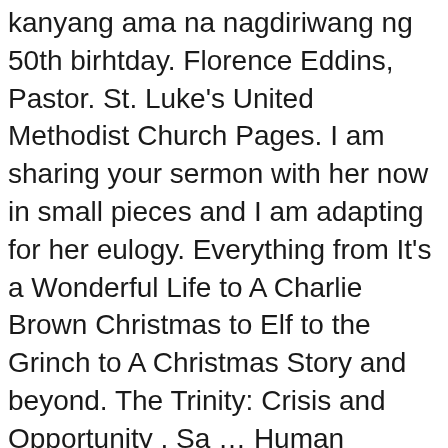kanyang ama na nagdiriwang ng 50th birhtday. Florence Eddins, Pastor. St. Luke's United Methodist Church Pages. I am sharing your sermon with her now in small pieces and I am adapting for her eulogy. Everything from It's a Wonderful Life to A Charlie Brown Christmas to Elf to the Grinch to A Christmas Story and beyond. The Trinity: Crisis and Opportunity . Sa … Human translations with examples: jesus, thanks, sirmon, credits, sinermonan, pasasalamat, na sermonan. by Bob Wickizer. And I know that the LORD has been gracious to you. Prepare your messages on God as three persons: the Father, the Son (Jesus Christ), and the Holy Spirit, with sermon outlines or an entire sermon series. There are two types of past events: Things out… This handy list of benedictions and doxologies should help. Ang mga Palatandaan ng Pagbabalik ni Cristo ay Naglilitawan: Paano Sasalubungin ang Ikalawang Pagparito ng Panginoon. Filipino Expressions in english To Tagalog...